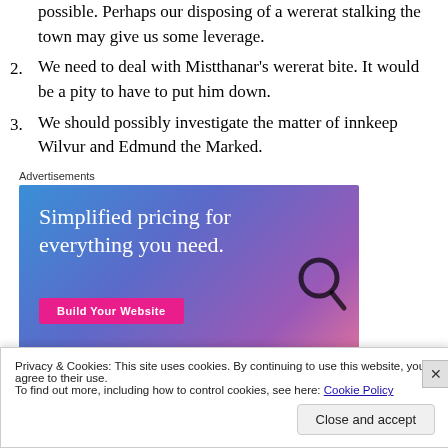possible. Perhaps our disposing of a wererat stalking the town may give us some leverage.
2. We need to deal with Mistthanar's wererat bite. It would be a pity to have to put him down.
3. We should possibly investigate the matter of innkeep Wilvur and Edmund the Marked.
Advertisements
[Figure (illustration): Advertisement banner: 'Simplified pricing for everything you need.' with a 'Build Your Website' button on a blue/purple gradient background with a hand holding glasses.]
Privacy & Cookies: This site uses cookies. By continuing to use this website, you agree to their use.
To find out more, including how to control cookies, see here: Cookie Policy